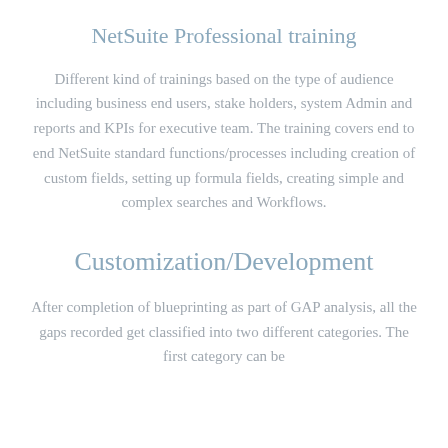NetSuite Professional training
Different kind of trainings based on the type of audience including business end users, stake holders, system Admin and reports and KPIs for executive team. The training covers end to end NetSuite standard functions/processes including creation of custom fields, setting up formula fields, creating simple and complex searches and Workflows.
Customization/Development
After completion of blueprinting as part of GAP analysis, all the gaps recorded get classified into two different categories. The first category can be